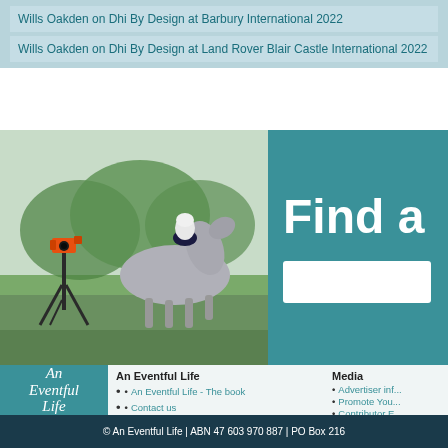Wills Oakden on Dhi By Design at Barbury International 2022
Wills Oakden on Dhi By Design at Land Rover Blair Castle International 2022
[Figure (photo): Equestrian rider on grey horse jumping/cantering at competition grounds, with a video camera on tripod in foreground. Green grass and trees visible in background.]
Find a
An Eventful Life
An Eventful Life - The book
Contact us
Contributors
Media
Advertiser inf...
Promote You...
Contributor E...
© An Eventful Life | ABN 47 603 970 887 | PO Box 216...